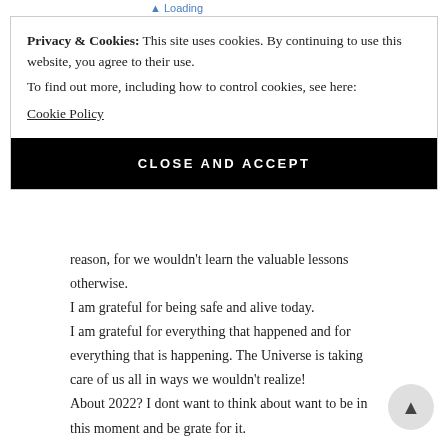Loading
Privacy & Cookies: This site uses cookies. By continuing to use this website, you agree to their use.
To find out more, including how to control cookies, see here:
Cookie Policy
CLOSE AND ACCEPT
reason, for we wouldn't learn the valuable lessons otherwise.
I am grateful for being safe and alive today.
I am grateful for everything that happened and for everything that is happening. The Universe is taking care of us all in ways we wouldn't realize!
About 2022? I dont want to think about want to be in this moment and be grate for it.